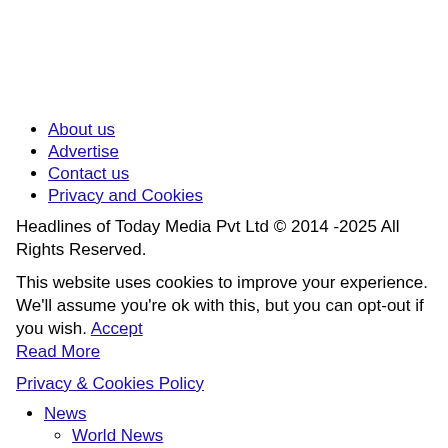About us
Advertise
Contact us
Privacy and Cookies
Headlines of Today Media Pvt Ltd © 2014 -2025 All Rights Reserved.
This website uses cookies to improve your experience. We'll assume you're ok with this, but you can opt-out if you wish. Accept Read More
Privacy & Cookies Policy
News
World News
India News
US News
Europe News